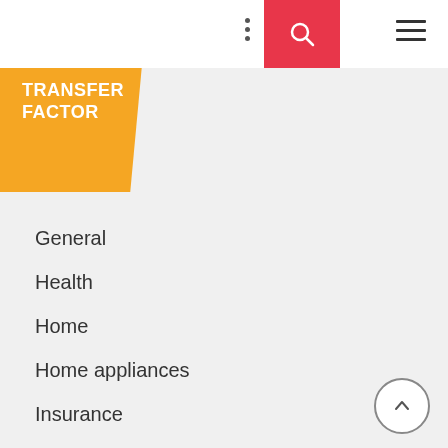TRANSFER FACTOR
General
Health
Home
Home appliances
Insurance
Internet Marketing
Law
Loan
Marketing